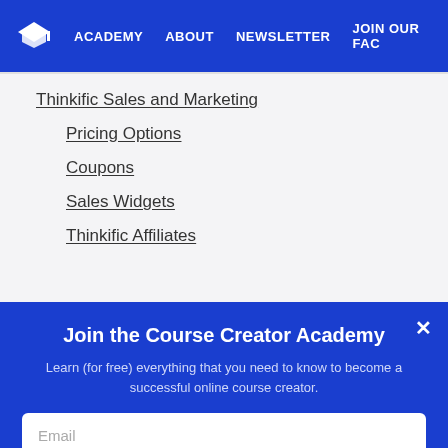ACADEMY  ABOUT  NEWSLETTER  JOIN OUR FAC
Thinkific Sales and Marketing
Pricing Options
Coupons
Sales Widgets
Thinkific Affiliates
Join the Course Creator Academy
Learn (for free) everything that you need to know to become a successful online course creator.
Email
JOIN NOW